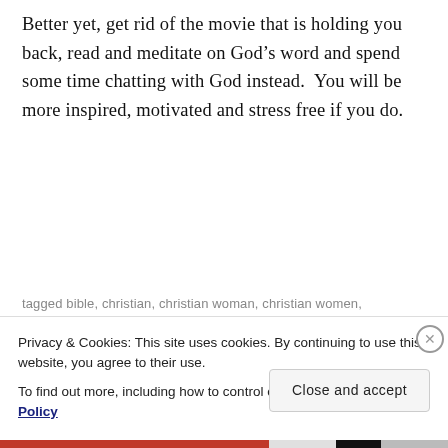Better yet, get rid of the movie that is holding you back, read and meditate on God’s word and spend some time chatting with God instead.  You will be more inspired, motivated and stress free if you do.
tagged bible, christian, christian woman, christian women,
Privacy & Cookies: This site uses cookies. By continuing to use this website, you agree to their use.
To find out more, including how to control cookies, see here: Cookie Policy
Close and accept